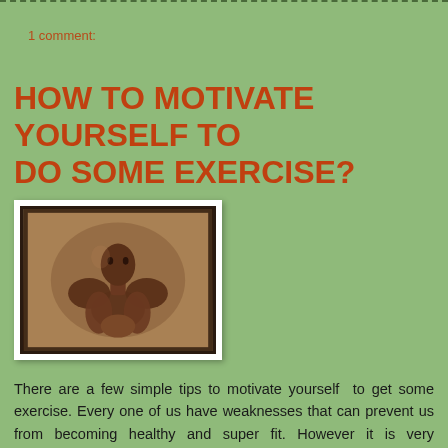1 comment:
HOW TO MOTIVATE YOURSELF TO DO SOME EXERCISE?
[Figure (photo): A muscular man with dark skin, hands clasped in a prayer position, looking upward, sepia-toned photograph with dark border]
There are a few simple tips to motivate yourself  to get some exercise. Every one of us have weaknesses that can prevent us from becoming healthy and super fit. However it is very important to overcome these weaknesses in order to enjoy a quality life together with our family and